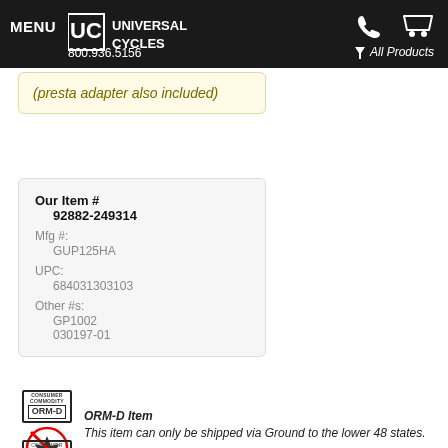MENU UC UNIVERSAL CYCLES 800.936.5156 All Products
(presta adapter also included)
| Our Item # | 92882-249314 |
| Mfg #: | GUP125HA |
| UPC: | 684031303103 |
| Other #s: | GP1002
030197-01 |
ORM-D Item This item can only be shipped via Ground to the lower 48 states.
Contains Liquid Some shipping restrictions may apply (No USPS, No